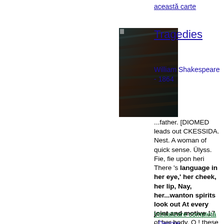această carte
[Figure (photo): Book cover image of Tragedies by William Shakespeare, dark textured cover]
Tragedies
William Shakespeare - 1864
...father. [DIOMED leads out CKESSIDA. Nest. A woman of quick sense. Ülyss. Fie, fie upon heri There 's language in her eye,' her cheek, her lip, Nay, her...wanton spirits look out At every joint and motive 17 of her body. O ! these encounterers , so glib of tongue , That give a coasting welcome ere it comes,...
Vizualizare completă - Despre